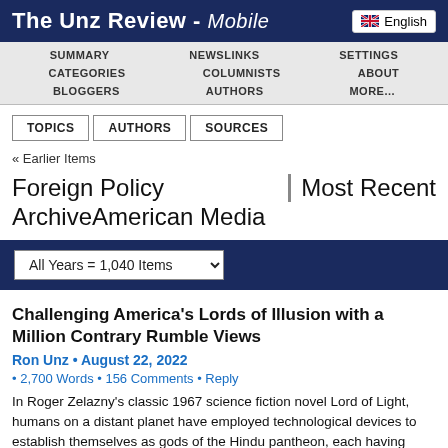The Unz Review - Mobile
SUMMARY   NEWSLINKS   SETTINGS   CATEGORIES   COLUMNISTS   ABOUT   BLOGGERS   AUTHORS   MORE...
TOPICS
AUTHORS
SOURCES
« Earlier Items
Foreign Policy ArchiveAmerican Media   Most Recent
All Years = 1,040 Items
Challenging America's Lords of Illusion with a Million Contrary Rumble Views
Ron Unz • August 22, 2022
• 2,700 Words • 156 Comments • Reply
In Roger Zelazny's classic 1967 science fiction novel Lord of Light, humans on a distant planet have employed technological devices to establish themselves as gods of the Hindu pantheon, each having particular aspects and attributes. Mara is the Lord of Illusion, able to reshape the perceived world in the minds of all those around him....